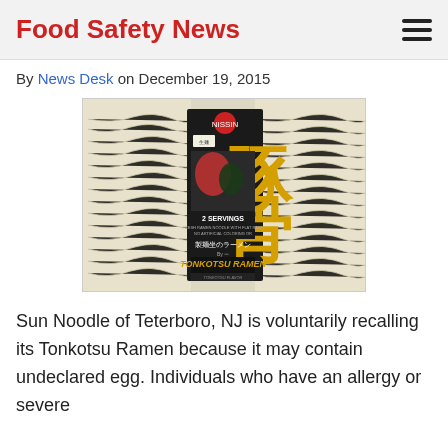Food Safety News
By News Desk on December 19, 2015
[Figure (photo): Package of Sun Noodle Tonkotsu Ramen product in clear plastic packaging with dark label showing Japanese characters and 'TONKOTSU RAMEN' text in gold letters]
Sun Noodle of Teterboro, NJ is voluntarily recalling its Tonkotsu Ramen because it may contain undeclared egg. Individuals who have an allergy or severe sensitivity to eggs may face a health risk if